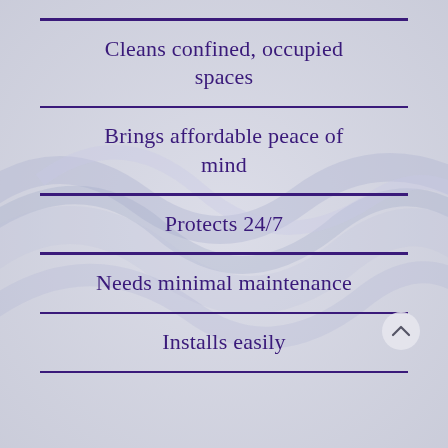Cleans confined, occupied spaces
Brings affordable peace of mind
Protects 24/7
Needs minimal maintenance
Installs easily